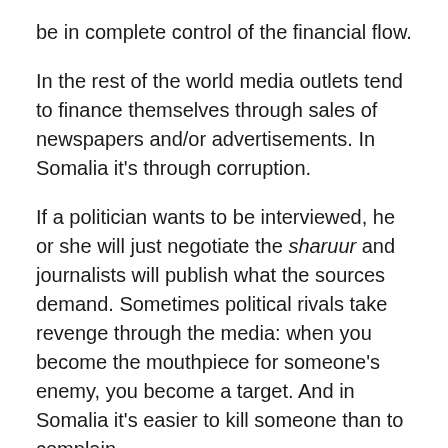be in complete control of the financial flow.
In the rest of the world media outlets tend to finance themselves through sales of newspapers and/or advertisements. In Somalia it’s through corruption.
If a politician wants to be interviewed, he or she will just negotiate the sharuur and journalists will publish what the sources demand. Sometimes political rivals take revenge through the media: when you become the mouthpiece for someone’s enemy, you become a target. And in Somalia it’s easier to kill someone than to complain.
On one trip to Mogadishu, I remember visiting the port to film general views of it. As soon as I arrived, a policeman at the port’s authority came to me and asked aggressively: “Are you one of their friends?”